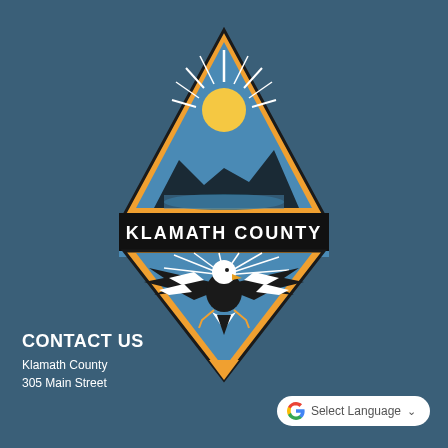[Figure (logo): Klamath County official logo: diamond-shaped emblem with upper triangle showing mountain lake scene and sunburst in gold/orange, black banner with 'KLAMATH COUNTY' text, lower triangle with bald eagle in flight with blue sunburst rays and gold/orange accent at bottom point]
CONTACT US
Klamath County
305 Main Street
[Figure (other): Google Translate widget button with Google G logo, 'Select Language' text, and dropdown chevron on white rounded rectangle]